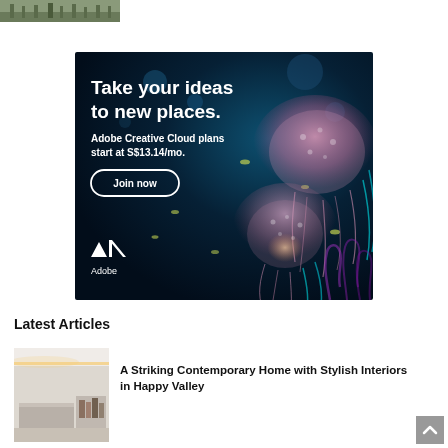[Figure (photo): Partial top image showing outdoor scene with fence/greenery, cropped at top of page]
[Figure (illustration): Adobe Creative Cloud advertisement banner with dark ocean/jellyfish background. Text: 'Take your ideas to new places. Adobe Creative Cloud plans start at S$13.14/mo.' with 'Join now' button and Adobe logo.]
Latest Articles
[Figure (photo): Thumbnail photo of a contemporary interior room with warm lighting strip on ceiling]
A Striking Contemporary Home with Stylish Interiors in Happy Valley